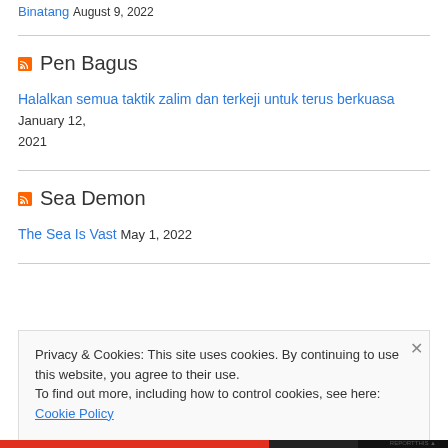Binatang August 9, 2022
Pen Bagus
Halalkan semua taktik zalim dan terkeji untuk terus berkuasa January 12, 2021
Sea Demon
The Sea Is Vast May 1, 2022
Privacy & Cookies: This site uses cookies. By continuing to use this website, you agree to their use.
To find out more, including how to control cookies, see here: Cookie Policy
Close and accept